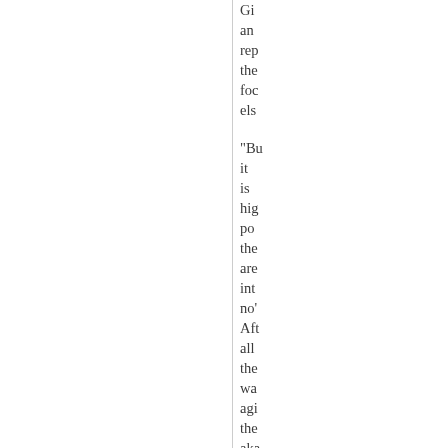Gr an rep the foc els
"Bu it is hig po the are int no' Aft all the wa agi the aka em rec